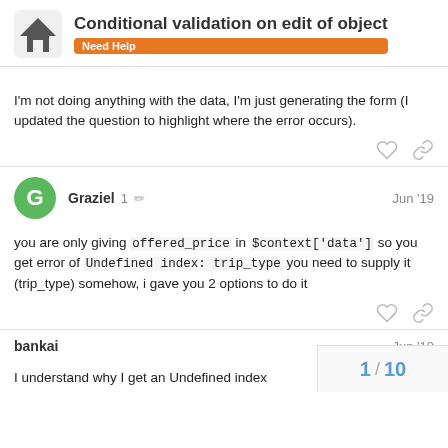Conditional validation on edit of object | Need Help
I'm not doing anything with the data, I'm just generating the form (I updated the question to highlight where the error occurs).
Graziel 1 Jun '19
you are only giving offered_price in $context['data'] so you get error of Undefined index: trip_type you need to supply it (trip_type) somehow, i gave you 2 options to do it
bankai Jun '19
I understand why I get an Undefined index
1 / 10